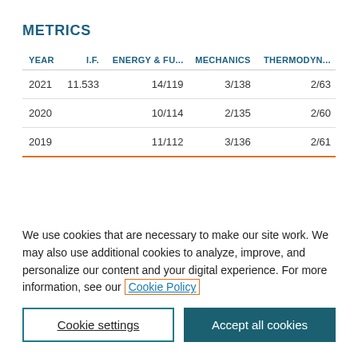METRICS
| YEAR | I.F. | ENERGY & FU... | MECHANICS | THERMODYN... |
| --- | --- | --- | --- | --- |
| 2021 | 11.533 | 14/119 | 3/138 | 2/63 |
| 2020 |  | 10/114 | 2/135 | 2/60 |
| 2019 |  | 11/112 | 3/136 | 2/61 |
We use cookies that are necessary to make our site work. We may also use additional cookies to analyze, improve, and personalize our content and your digital experience. For more information, see our Cookie Policy
Cookie settings
Accept all cookies